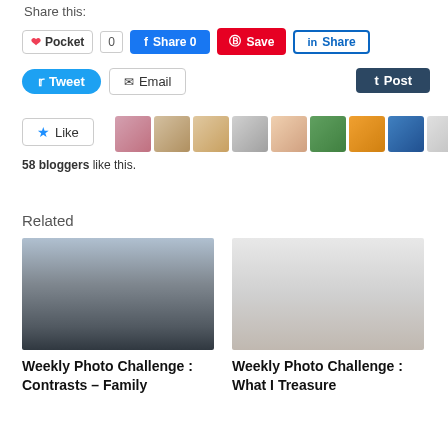Share this:
Pocket 0  Share 0  Save  Share
Tweet  Email  Post
[Figure (other): Like button with 10 blogger avatar thumbnails]
58 bloggers like this.
Related
[Figure (photo): Black and white landscape photo with silhouetted trees and water]
Weekly Photo Challenge : Contrasts – Family
[Figure (photo): Light grey/white minimalist photo of what appears to be a chair or furniture]
Weekly Photo Challenge : What I Treasure